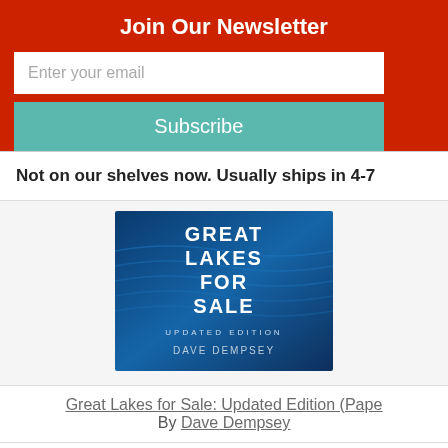Join Our Newsletter
Enter your email
Subscribe
Not on our shelves now. Usually ships in 4-7
[Figure (photo): Book cover for Great Lakes for Sale: Updated Edition by Dave Dempsey. Blue water texture background with white bold text.]
Great Lakes for Sale: Updated Edition (Pape By Dave Dempsey
$14.95
Add to Cart
Add to Wish List